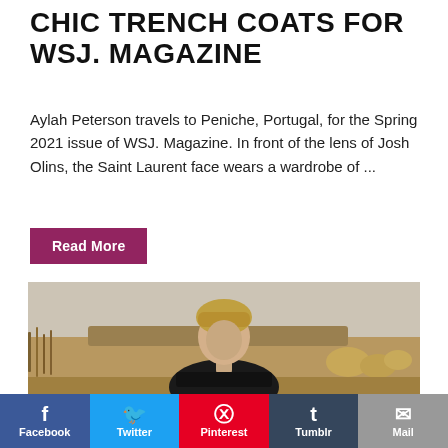CHIC TRENCH COATS FOR WSJ. MAGAZINE
Aylah Peterson travels to Peniche, Portugal, for the Spring 2021 issue of WSJ. Magazine. In front of the lens of Josh Olins, the Saint Laurent face wears a wardrobe of ...
Read More
[Figure (photo): A model with short blonde hair wearing a dark coat, standing outdoors in a field with dry brush and overcast sky behind her.]
Facebook | Twitter | Pinterest | Tumblr | Mail